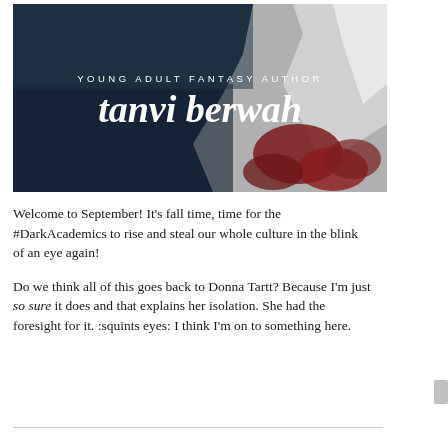[Figure (illustration): Author banner image: aerial photo of dark blue water and white/red rocky cliffs, with text overlay 'YOUNG ADULT FANTASY AUTHOR' and large bold italic 'tanvi berwah']
Welcome to September! It's fall time, time for the #DarkAcademics to rise and steal our whole culture in the blink of an eye again!
Do we think all of this goes back to Donna Tartt? Because I'm just so sure it does and that explains her isolation. She had the foresight for it. :squints eyes: I think I'm on to something here.